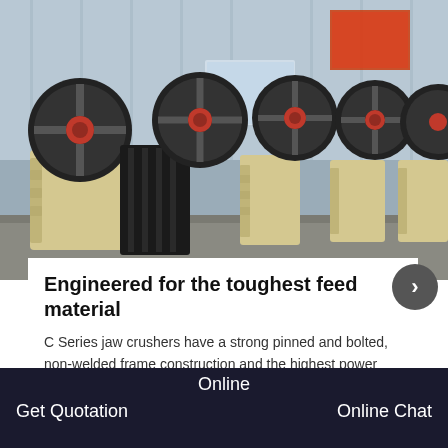[Figure (photo): Multiple C Series jaw crushers with black and red flywheels and cream/yellow bodies lined up in a warehouse/factory setting with a corrugated metal building in the background.]
Engineered for the toughest feed material
C Series jaw crushers have a strong pinned and bolted, non-welded frame construction and the highest power
GET PRICE
Online
Get Quotation
Online Chat